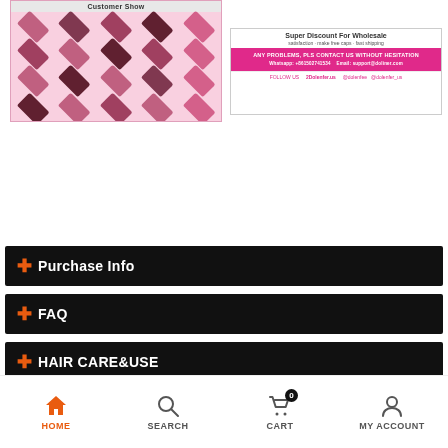[Figure (screenshot): Customer Show collage of women with various hairstyles in diamond grid on pink background]
[Figure (screenshot): Super Discount For Wholesale banner with pink contact bar and social media follow links]
+ Purchase Info
+ FAQ
+ HAIR CARE&USE
HOME  SEARCH  CART 0  MY ACCOUNT